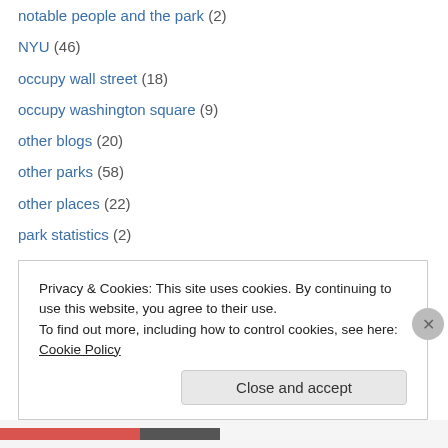notable people and the park (2)
NYU (46)
occupy wall street (18)
occupy washington square (9)
other blogs (20)
other parks (58)
other places (22)
park statistics (2)
parks department (115)
performance crackdown at WSP (10)
pesticides (5)
phase II (48)
phase III (10)
photo (130)
Privacy & Cookies: This site uses cookies. By continuing to use this website, you agree to their use. To find out more, including how to control cookies, see here: Cookie Policy
Close and accept